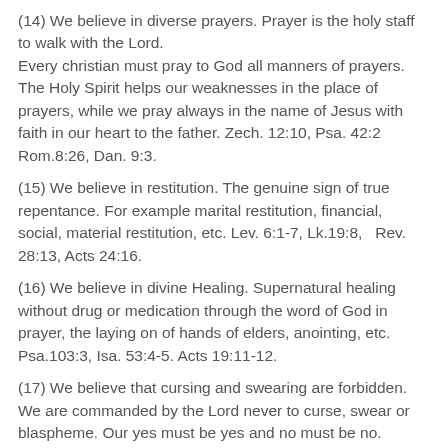(14) We believe in diverse prayers. Prayer is the holy staff to walk with the Lord. Every christian must pray to God all manners of prayers. The Holy Spirit helps our weaknesses in the place of prayers, while we pray always in the name of Jesus with faith in our heart to the father. Zech. 12:10, Psa. 42:2 Rom.8:26, Dan. 9:3.
(15) We believe in restitution. The genuine sign of true repentance. For example marital restitution, financial, social, material restitution, etc. Lev. 6:1-7, Lk.19:8,  Rev. 28:13, Acts 24:16.
(16) We believe in divine Healing. Supernatural healing without drug or medication through the word of God in prayer, the laying on of hands of elders, anointing, etc. Psa.103:3, Isa. 53:4-5. Acts 19:11-12.
(17) We believe that cursing and swearing are forbidden. We are commanded by the Lord never to curse, swear or blaspheme. Our yes must be yes and no must be no. Rom.12:14, Matt.5:34-35, Jam.5:12.
(18) We believe in honouring our parents, elderly and all constituted authorities at all times. 1 Pet.2:13-14, Rom.13:1-5.